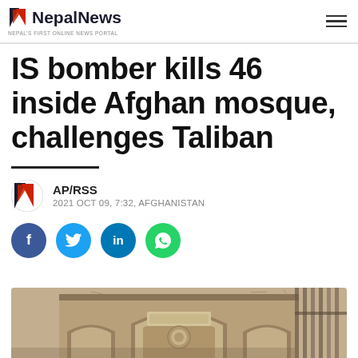NepalNews — NEPAL'S FIRST ONLINE NEWS PORTAL
IS bomber kills 46 inside Afghan mosque, challenges Taliban
AP/RSS
2021 OCT 09, 7:32, AFGHANISTAN
[Figure (photo): Partial view of an Afghan mosque exterior with arched stonework and decorative elements, seen from below]